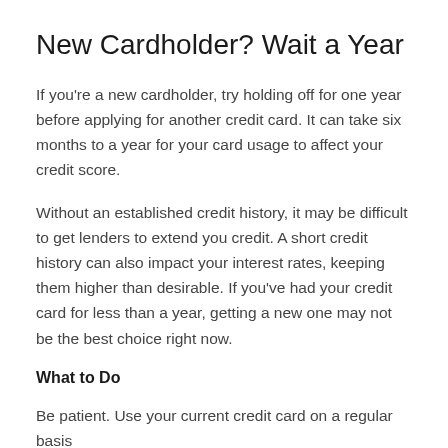New Cardholder? Wait a Year
If you're a new cardholder, try holding off for one year before applying for another credit card. It can take six months to a year for your card usage to affect your credit score.
Without an established credit history, it may be difficult to get lenders to extend you credit. A short credit history can also impact your interest rates, keeping them higher than desirable. If you've had your credit card for less than a year, getting a new one may not be the best choice right now.
What to Do
Be patient. Use your current credit card on a regular basis